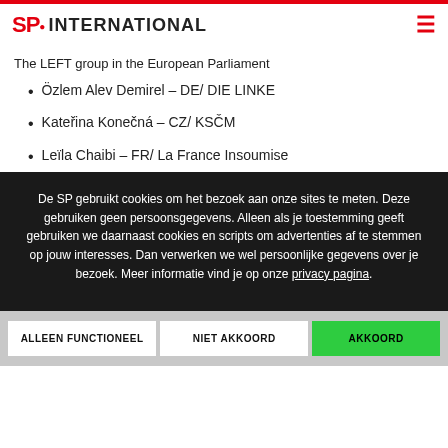SP. INTERNATIONAL
The LEFT group in the European Parliament
Özlem Alev Demirel – DE/ DIE LINKE
Kateřina Konečná – CZ/ KSČM
Leïla Chaibi – FR/ La France Insoumise
De SP gebruikt cookies om het bezoek aan onze sites te meten. Deze gebruiken geen persoonsgegevens. Alleen als je toestemming geeft gebruiken we daarnaast cookies en scripts om advertenties af te stemmen op jouw interesses. Dan verwerken we wel persoonlijke gegevens over je bezoek. Meer informatie vind je op onze privacy pagina.